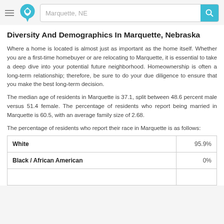Marquette, NE
Diversity And Demographics In Marquette, Nebraska
Where a home is located is almost just as important as the home itself. Whether you are a first-time homebuyer or are relocating to Marquette, it is essential to take a deep dive into your potential future neighborhood. Homeownership is often a long-term relationship; therefore, be sure to do your due diligence to ensure that you make the best long-term decision.
The median age of residents in Marquette is 37.1, split between 48.6 percent male versus 51.4 female. The percentage of residents who report being married in Marquette is 60.5, with an average family size of 2.68.
The percentage of residents who report their race in Marquette is as follows:
| Race | Percentage |
| --- | --- |
| White | 95.9% |
| Black / African American | 0% |